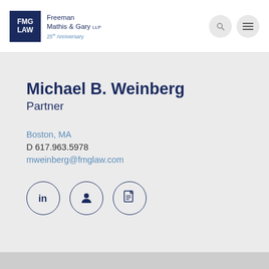[Figure (logo): FMG LAW logo with Freeman Mathis & Gary LLP and 25th Anniversary text, plus search and menu icons in header]
Michael B. Weinberg
Partner
Boston, MA
D 617.963.5978
mweinberg@fmglaw.com
[Figure (illustration): Three circle icon buttons: LinkedIn icon, person/profile icon, PDF document icon]